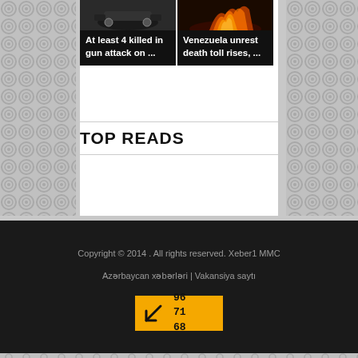[Figure (photo): News article thumbnail: car image (dark)]
At least 4 killed in gun attack on ...
[Figure (photo): News article thumbnail: fire/explosion image]
Venezuela unrest death toll rises, ...
TOP READS
Copyright © 2014 . All rights reserved. Xeber1 MMC
Azərbaycan xəbərləri | Vakansiya saytı
[Figure (other): Counter/stats widget with yellow background, arrow icon and numbers 96 71 68]